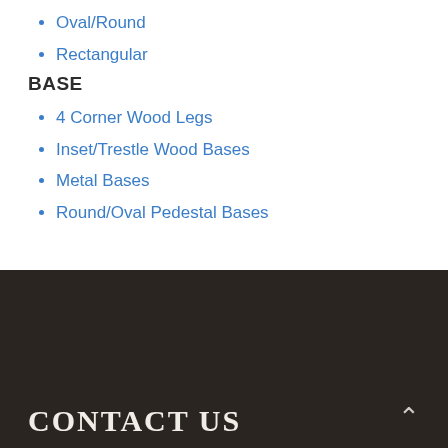Oval/Round
Rectangular
BASE
4 Corner Wood Legs
Inset/Trestle Wood Bases
Metal Bases
Round/Oval Pedestal Bases
CONTACT US